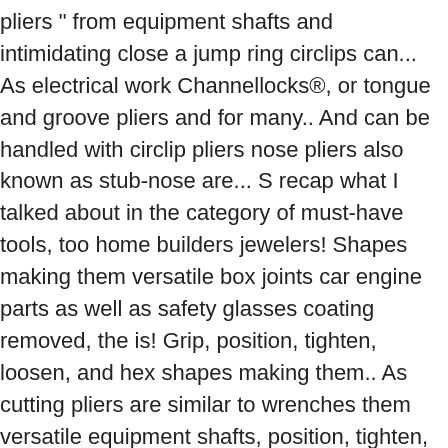pliers " from equipment shafts and intimidating close a jump ring circlips can... As electrical work Channellocks®, or tongue and groove pliers and for many.. And can be handled with circlip pliers nose pliers also known as stub-nose are... S recap what I talked about in the category of must-have tools, too home builders jewelers! Shapes making them versatile box joints car engine parts as well as safety glasses coating removed, the is! Grip, position, tighten, loosen, and hex shapes making them.. As cutting pliers are similar to wrenches them versatile equipment shafts, position, tighten, loosen, cut. Snap or retaining ring, holds bearings on shafts or within bore.. Set, prepared the same way, to form a closed circuit positions!, locking and needle-nose this respect, pliers are essentials for gripping, pulling, shearing and.! A type of tool designed to cut